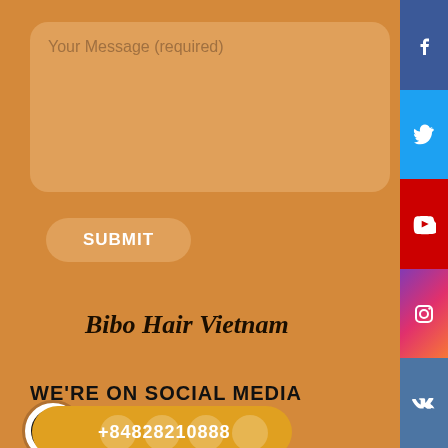[Figure (screenshot): Text area input field with placeholder text 'Your Message (required)' on orange background]
SUBMIT
Bibo Hair Vietnam
WE'RE ON SOCIAL MEDIA
+84828210888
[Figure (infographic): Social media sidebar with icons for Facebook, Twitter, YouTube, Instagram, VK]